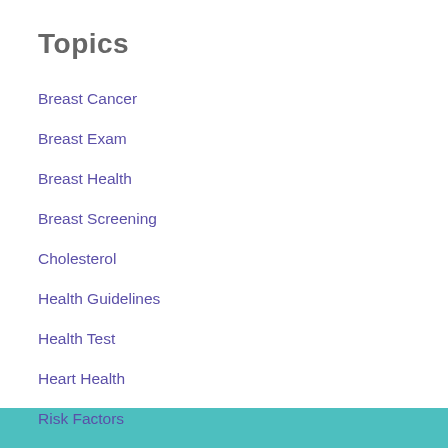Topics
Breast Cancer
Breast Exam
Breast Health
Breast Screening
Cholesterol
Health Guidelines
Health Test
Heart Health
Risk Factors
Women's Health